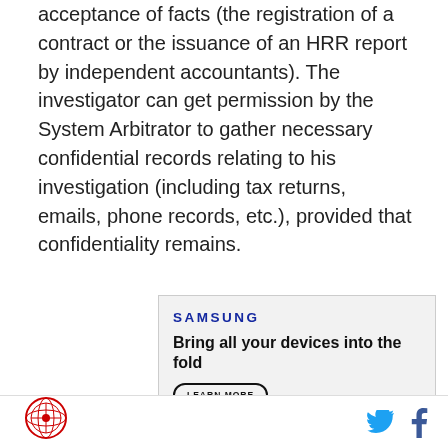acceptance of facts (the registration of a contract or the issuance of an HRR report by independent accountants). The investigator can get permission by the System Arbitrator to gather necessary confidential records relating to his investigation (including tax returns, emails, phone records, etc.), provided that confidentiality remains.
[Figure (other): Samsung advertisement: 'Bring all your devices into the fold' with a LEARN MORE button, Galaxy devices photo including a watch, tablet, phone, and earbuds]
circular logo icon | Twitter bird icon | Facebook f icon